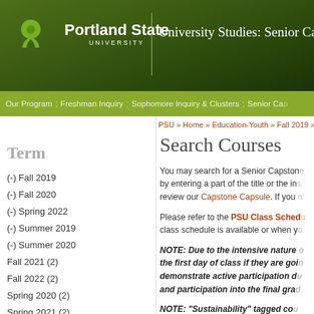Portland State University — University Studies: Senior Capstone
Our Program : Freshman Inquiry : Sophomore Inquiry & Clusters : Senior Cap...
PSU » Home » Education-Youth » Fall 2019 » Re...
Term
(-) Fall 2019
(-) Fall 2020
(-) Spring 2022
(-) Summer 2019
(-) Summer 2020
Fall 2021 (2)
Fall 2022 (2)
Spring 2020 (2)
Spring 2021 (2)
Summer 2021 (2)
Summer 2022 (2)
Winter 2020 (2)
Winter 2021 (2)
Search Courses
You may search for a Senior Capstone by entering a part of the title or the in... review our Capstone Capsule. If you...
Please refer to the PSU Class Sched... class schedule is available or when y...
NOTE:  Due to the intensive nature... the first day of class if they are goi... demonstrate active participation d... and participation into the final gra...
NOTE:  "Sustainability" tagged co... seek approval from Joseph Maser,...